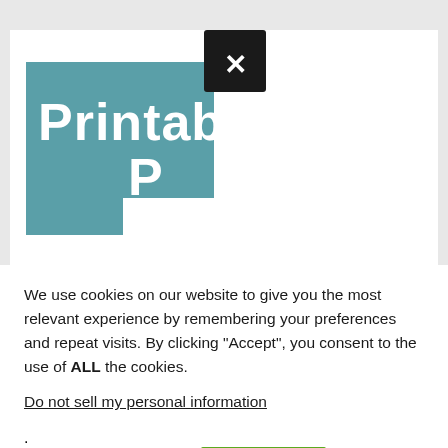[Figure (screenshot): Partially visible printable product cover image on a teal/muted blue-green background with white bold handwritten-style text reading 'Printable' and 'P' (rest cut off). A black close (X) button is overlaid at top right of the image.]
We use cookies on our website to give you the most relevant experience by remembering your preferences and repeat visits. By clicking “Accept”, you consent to the use of ALL the cookies.
Do not sell my personal information.
Cookie Settings
Accept